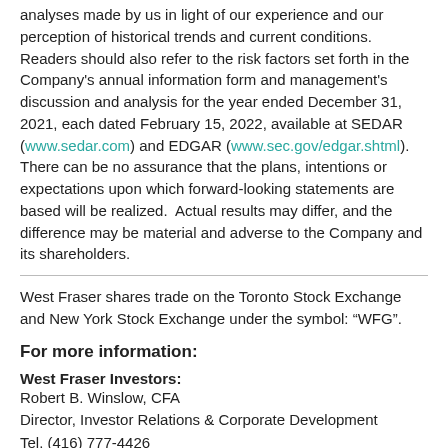analyses made by us in light of our experience and our perception of historical trends and current conditions. Readers should also refer to the risk factors set forth in the Company's annual information form and management's discussion and analysis for the year ended December 31, 2021, each dated February 15, 2022, available at SEDAR (www.sedar.com) and EDGAR (www.sec.gov/edgar.shtml). There can be no assurance that the plans, intentions or expectations upon which forward-looking statements are based will be realized. Actual results may differ, and the difference may be material and adverse to the Company and its shareholders.
West Fraser shares trade on the Toronto Stock Exchange and New York Stock Exchange under the symbol: “WFG”.
For more information:
West Fraser Investors:
Robert B. Winslow, CFA
Director, Investor Relations & Corporate Development
Tel. (416) 777-4426